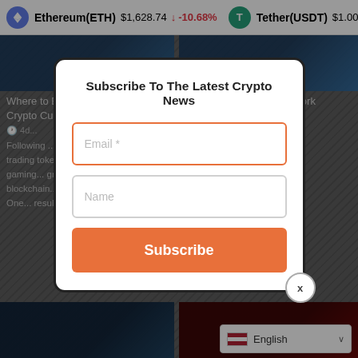Ethereum(ETH) $1,628.74 -10.68% Tether(USDT) $1.00
Where to Buy Axie Infinity (AXS) Crypto Currency
Where to Buy Oasis Network (ROSE)
Following … growing … trading token … gaming … great … blockchain … One … result …
[Figure (screenshot): Subscribe To The Latest Crypto News modal dialog with Email and Name fields and an orange Subscribe button]
English